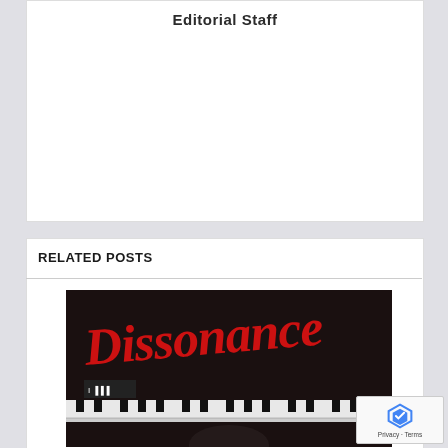Editorial Staff
RELATED POSTS
[Figure (photo): Album cover image with red cursive 'Dissonance' text on dark background, with piano keys visible and a partial figure below]